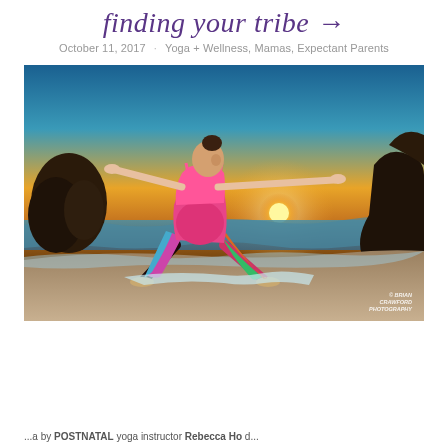finding your tribe →
October 11, 2017  ·  Yoga + Wellness, Mamas, Expectant Parents
[Figure (photo): Pregnant woman in warrior yoga pose on a beach at sunset, wearing pink top and colorful leggings, arms spread wide, ocean waves and rocks in background, sun visible as starburst near horizon. Photo credit: Brian Crawford Photography.]
...a by POSTNATAL yoga instructor Rebecca Ho d...